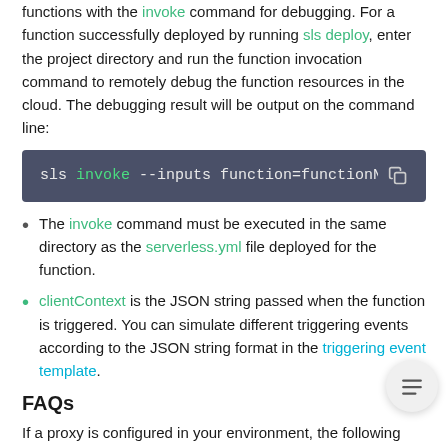functions with the invoke command for debugging. For a function successfully deployed by running sls deploy, enter the project directory and run the function invocation command to remotely debug the function resources in the cloud. The debugging result will be output on the command line:
[Figure (screenshot): Code block with dark background showing: sls invoke --inputs function=functionName clientCont with a copy icon]
The invoke command must be executed in the same directory as the serverless.yml file deployed for the function.
clientContext is the JSON string passed when the function is triggered. You can simulate different triggering events according to the JSON string format in the triggering event template.
FAQs
If a proxy is configured in your environment, the following problems may occur: